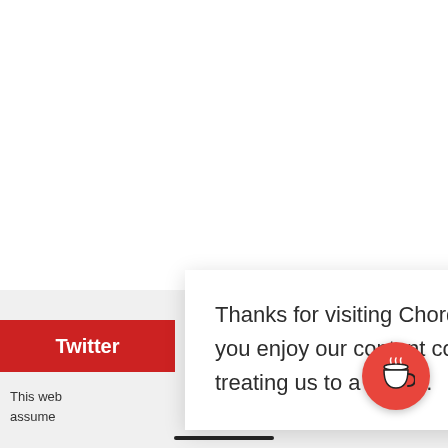[Figure (screenshot): Website screenshot showing a modal popup dialog over a webpage. The modal contains text about Chordblossom. A Twitter button (red) is visible on the left, a red button on the right, and a coffee cup floating action button in the bottom right corner.]
Thanks for visiting Chordblossom. If you enjoy our content consider treating us to a coffee.
Twitter
This web
assume
ience. We'll
if y